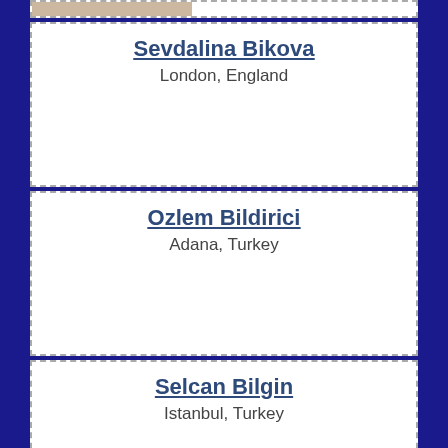[Figure (photo): Partial photo visible at top of page]
Sevdalina Bikova
London, England
Ozlem Bildirici
Adana, Turkey
Selcan Bilgin
Istanbul, Turkey